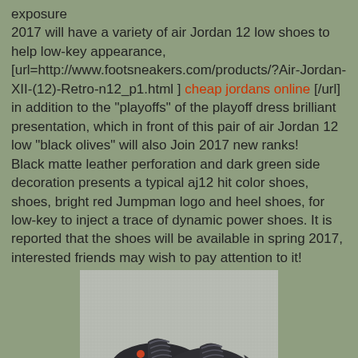exposure
2017 will have a variety of air Jordan 12 low shoes to help low-key appearance,
[url=http://www.footsneakers.com/products/?Air-Jordan-XII-(12)-Retro-n12_p1.html ] cheap jordans online [/url] in addition to the "playoffs" of the playoff dress brilliant presentation, which in front of this pair of air Jordan 12 low "black olives" will also Join 2017 new ranks!
Black matte leather perforation and dark green side decoration presents a typical aj12 hit color shoes, shoes, bright red Jumpman logo and heel shoes, for low-key to inject a trace of dynamic power shoes. It is reported that the shoes will be available in spring 2017, interested friends may wish to pay attention to it!
[Figure (photo): Photo of Air Jordan 12 low black olive sneakers on a gray surface, showing two shoes from a top-side angle]